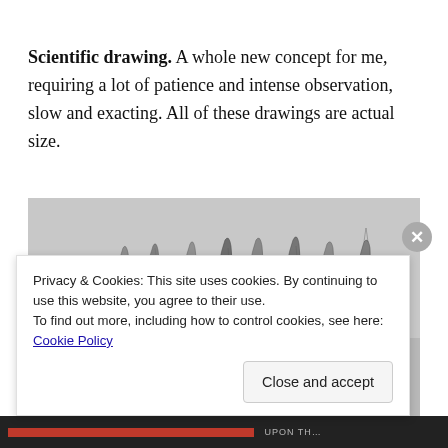Scientific drawing. A whole new concept for me, requiring a lot of patience and intense observation, slow and exacting. All of these drawings are actual size.
[Figure (illustration): A pencil scientific drawing showing what appears to be overlapping pointed leaf or petal shapes (possibly a botanical specimen like an artichoke or similar plant), rendered in graphite with detailed shading, actual size.]
Privacy & Cookies: This site uses cookies. By continuing to use this website, you agree to their use.
To find out more, including how to control cookies, see here: Cookie Policy
Close and accept